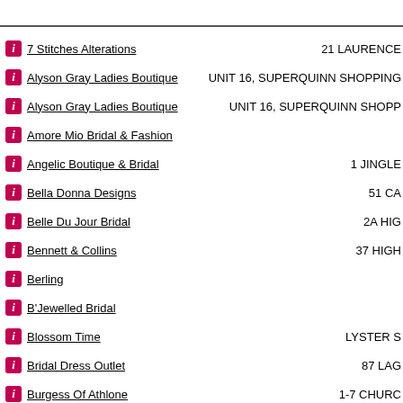7 Stitches Alterations | 21 LAURENCE
Alyson Gray Ladies Boutique | UNIT 16, SUPERQUINN SHOPPING
Alyson Gray Ladies Boutique | UNIT 16, SUPERQUINN SHOPP
Amore Mio Bridal & Fashion
Angelic Boutique & Bridal | 1 JINGLE
Bella Donna Designs | 51 CA
Belle Du Jour Bridal | 2A HIG
Bennett & Collins | 37 HIGH
Berling
B'Jewelled Bridal
Blossom Time | LYSTER S
Bridal Dress Outlet | 87 LAG
Burgess Of Athlone | 1-7 CHURC
Butterflyz And Angelz | 54 PAR
C & D Shoes Ltd | HEAD OFFICE: 41 CHARLEM
Cameo Bridal | FIR
Cherubim Occasions | 1ST FLOOR OF CHERUBIM O